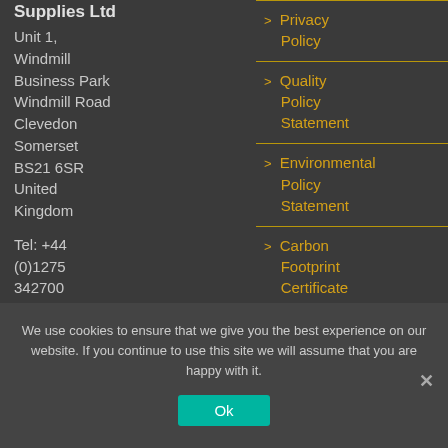Supplies Ltd
Unit 1,
Windmill Business Park
Windmill Road
Clevedon
Somerset
BS21 6SR
United Kingdom
Tel: +44 (0)1275 342700
Email:
Privacy Policy
Quality Policy Statement
Environmental Policy Statement
Carbon Footprint Certificate
We use cookies to ensure that we give you the best experience on our website. If you continue to use this site we will assume that you are happy with it.